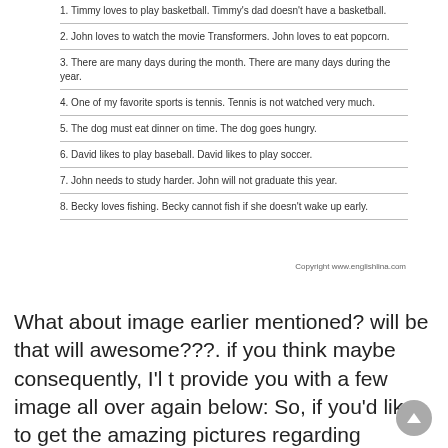1. Timmy loves to play basketball. Timmy's dad doesn't have a basketball.
2. John loves to watch the movie Transformers. John loves to eat popcorn.
3. There are many days during the month. There are many days during the year.
4. One of my favorite sports is tennis. Tennis is not watched very much.
5. The dog must eat dinner on time. The dog goes hungry.
6. David likes to play baseball. David likes to play soccer.
7. John needs to study harder. John will not graduate this year.
8. Becky loves fishing. Becky cannot fish if she doesn't wake up early.
Copyright www.englishlina.com
What about image earlier mentioned? will be that will awesome???. if you think maybe consequently, I'l t provide you with a few image all over again below: So, if you'd like to get the amazing pictures regarding